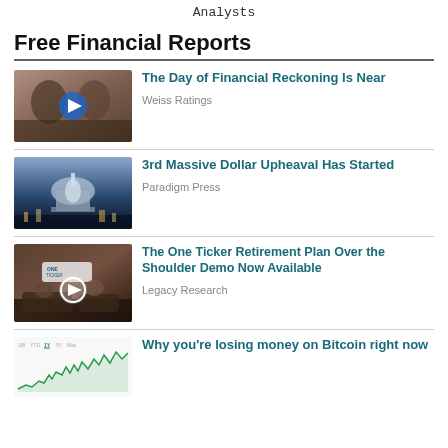Analysts
Free Financial Reports
[Figure (photo): Two men in conversation, video thumbnail with play button]
The Day of Financial Reckoning Is Near
Weiss Ratings
[Figure (photo): US Capitol building at night]
3rd Massive Dollar Upheaval Has Started
Paradigm Press
[Figure (photo): TV studio interview scene with One Ticker logo, video thumbnail with play button]
The One Ticker Retirement Plan Over the Shoulder Demo Now Available
Legacy Research
[Figure (line-chart): Bitcoin price chart thumbnail with time range selectors]
Why you're losing money on Bitcoin right now